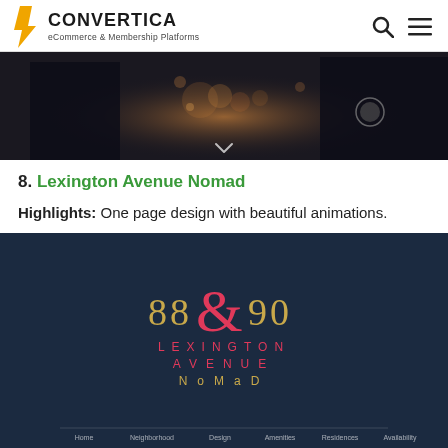CONVERTICA eCommerce & Membership Platforms
[Figure (photo): Dark photograph showing people at a dimly lit candlelit event or restaurant, with bokeh candle lights in background. A downward chevron arrow is visible at the bottom center.]
8. Lexington Avenue Nomad
Highlights: One page design with beautiful animations.
[Figure (screenshot): Screenshot of Lexington Avenue Nomad website showing dark navy blue background with logo text '88 & 90 LEXINGTON AVENUE NOMAD' in gold and pink colors, and a navigation bar at the bottom with links: Home, Neighborhood, Design, Amenities, Residences, Availability.]